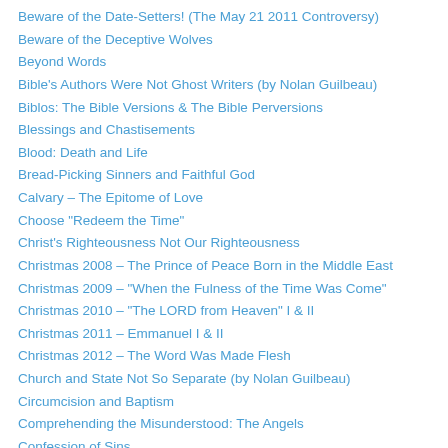Beware of the Date-Setters! (The May 21 2011 Controversy)
Beware of the Deceptive Wolves
Beyond Words
Bible's Authors Were Not Ghost Writers (by Nolan Guilbeau)
Biblos: The Bible Versions & The Bible Perversions
Blessings and Chastisements
Blood: Death and Life
Bread-Picking Sinners and Faithful God
Calvary – The Epitome of Love
Choose "Redeem the Time"
Christ's Righteousness Not Our Righteousness
Christmas 2008 – The Prince of Peace Born in the Middle East
Christmas 2009 – "When the Fulness of the Time Was Come"
Christmas 2010 – "The LORD from Heaven" I & II
Christmas 2011 – Emmanuel I & II
Christmas 2012 – The Word Was Made Flesh
Church and State Not So Separate (by Nolan Guilbeau)
Circumcision and Baptism
Comprehending the Misunderstood: The Angels
Confession of Sins